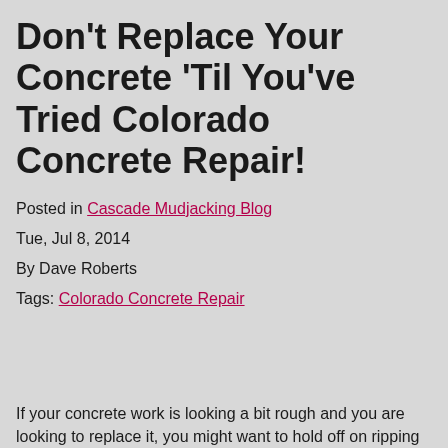Don't Replace Your Concrete 'Til You've Tried Colorado Concrete Repair!
Posted in Cascade Mudjacking Blog
Tue, Jul 8, 2014
By Dave Roberts
Tags: Colorado Concrete Repair
If your concrete work is looking a bit rough and you are looking to replace it, you might want to hold off on ripping it all out just yet because there is a chance that you can